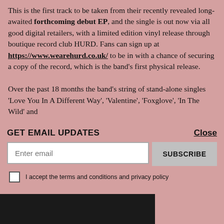This is the first track to be taken from their recently revealed long-awaited forthcoming debut EP, and the single is out now via all good digital retailers, with a limited edition vinyl release through boutique record club HURD. Fans can sign up at https://www.wearehurd.co.uk/ to be in with a chance of securing a copy of the record, which is the band's first physical release.

Over the past 18 months the band's string of stand-alone singles 'Love You In A Different Way', 'Valentine', 'Foxglove', 'In The Wild' and
GET EMAIL UPDATES
Close
Enter email
SUBSCRIBE
I accept the terms and conditions and privacy policy